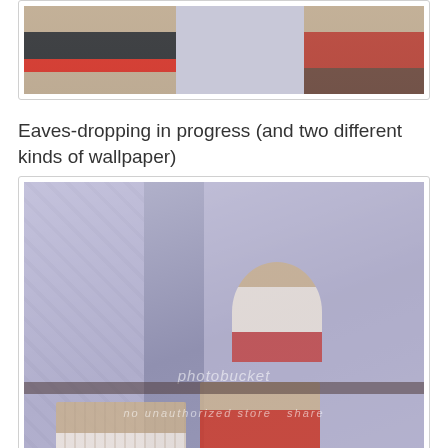[Figure (photo): Top partial photo showing two people standing, one in a striped shirt and one in red/orange top, indoors with decorative background]
Eaves-dropping in progress (and two different kinds of wallpaper)
[Figure (photo): Large photo of a man eavesdropping from an upper balcony while below a man in a striped suit and a woman in red stand near a plant. Two different wallpaper patterns visible. Photobucket watermark present.]
An exceedingly cunning disguise:
[Figure (photo): Bottom partial photo, partially visible, showing interior scene]